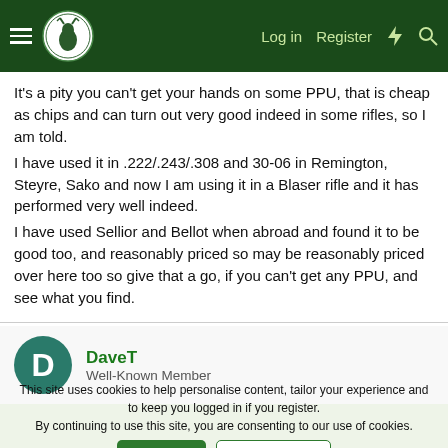Navigation bar with hamburger menu, logo, Log in, Register, and search icons
It's a pity you can't get your hands on some PPU, that is cheap as chips and can turn out very good indeed in some rifles, so I am told.
I have used it in .222/.243/.308 and 30-06 in Remington, Steyre, Sako and now I am using it in a Blaser rifle and it has performed very well indeed.
I have used Sellior and Bellot when abroad and found it to be good too, and reasonably priced so may be reasonably priced over here too so give that a go, if you can't get any PPU, and see what you find.
DaveT
Well-Known Member
This site uses cookies to help personalise content, tailor your experience and to keep you logged in if you register.
By continuing to use this site, you are consenting to our use of cookies.